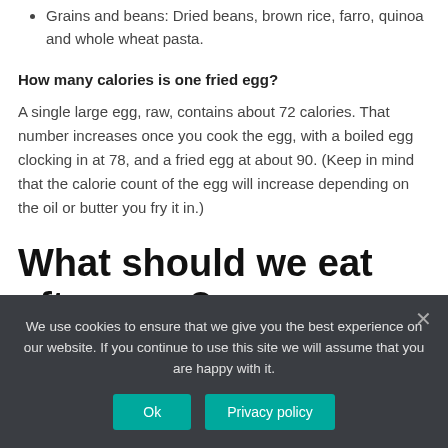Grains and beans: Dried beans, brown rice, farro, quinoa and whole wheat pasta.
How many calories is one fried egg?
A single large egg, raw, contains about 72 calories. That number increases once you cook the egg, with a boiled egg clocking in at 78, and a fried egg at about 90. (Keep in mind that the calorie count of the egg will increase depending on the oil or butter you fry it in.)
What should we eat after gym?
Bo...
We use cookies to ensure that we give you the best experience on our website. If you continue to use this site we will assume that you are happy with it.